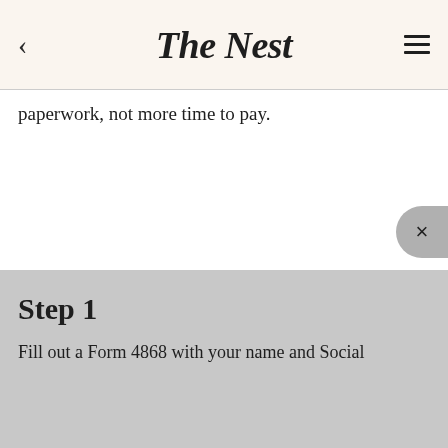The Nest
paperwork, not more time to pay.
Step 1
Fill out a Form 4868 with your name and Social